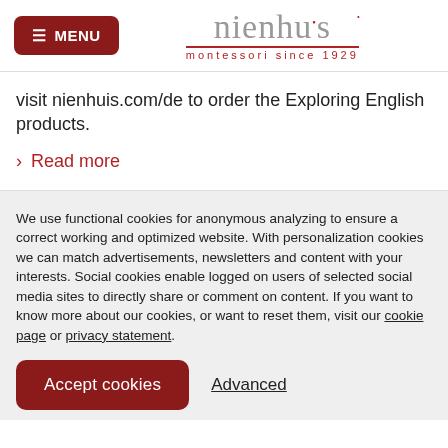MENU | nienhuis montessori since 1929
visit nienhuis.com/de to order the Exploring English products.
› Read more
We use functional cookies for anonymous analyzing to ensure a correct working and optimized website. With personalization cookies we can match advertisements, newsletters and content with your interests. Social cookies enable logged on users of selected social media sites to directly share or comment on content. If you want to know more about our cookies, or want to reset them, visit our cookie page or privacy statement.
Accept cookies   Advanced